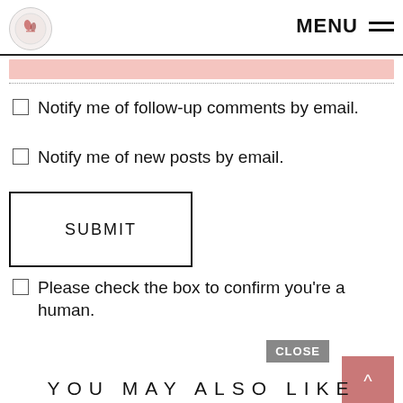MENU
[Figure (other): Pink input bar with dotted separator line below]
Notify me of follow-up comments by email.
Notify me of new posts by email.
SUBMIT
Please check the box to confirm you're a human.
CLOSE
YOU MAY ALSO LIKE